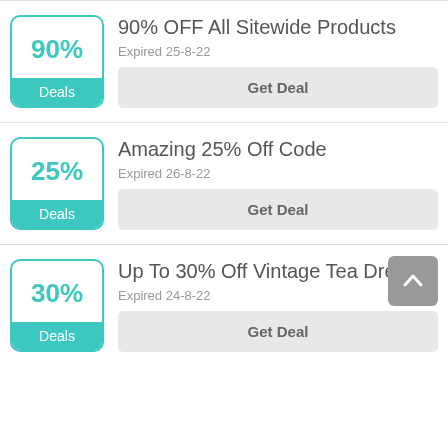90% OFF All Sitewide Products
Expired 25-8-22
Get Deal
Amazing 25% Off Code
Expired 26-8-22
Get Deal
Up To 30% Off Vintage Tea Dresses
Expired 24-8-22
Get Deal